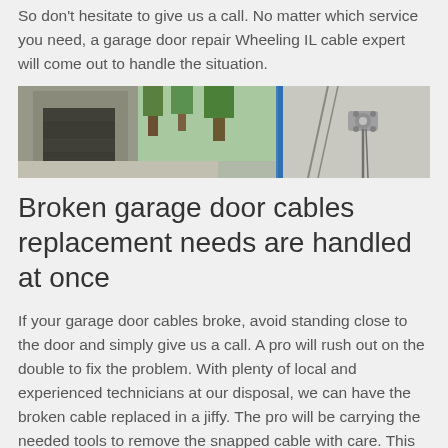So don't hesitate to give us a call. No matter which service you need, a garage door repair Wheeling IL cable expert will come out to handle the situation.
[Figure (photo): A composite photo showing a modern garage with a dark door on the left and a close-up of a garage door cable mechanism on the right.]
Broken garage door cables replacement needs are handled at once
If your garage door cables broke, avoid standing close to the door and simply give us a call. A pro will rush out on the double to fix the problem. With plenty of local and experienced technicians at our disposal, we can have the broken cable replaced in a jiffy. The pro will be carrying the needed tools to remove the snapped cable with care. This is